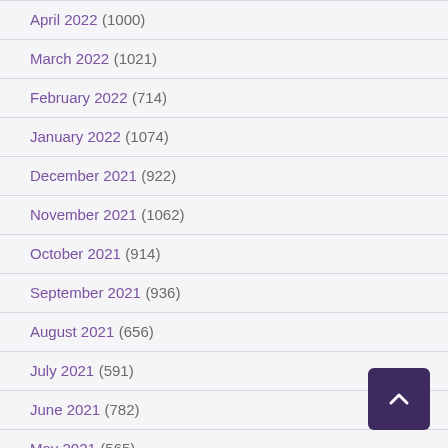April 2022 (1000)
March 2022 (1021)
February 2022 (714)
January 2022 (1074)
December 2021 (922)
November 2021 (1062)
October 2021 (914)
September 2021 (936)
August 2021 (656)
July 2021 (591)
June 2021 (782)
May 2021 (565)